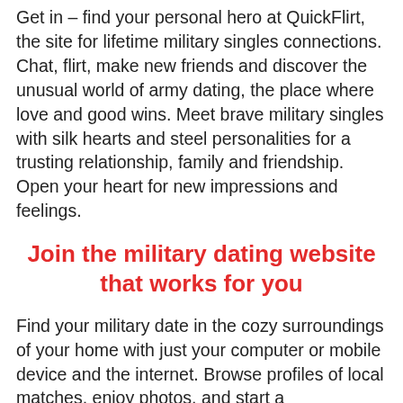Get in – find your personal hero at QuickFlirt, the site for lifetime military singles connections. Chat, flirt, make new friends and discover the unusual world of army dating, the place where love and good wins. Meet brave military singles with silk hearts and steel personalities for a trusting relationship, family and friendship. Open your heart for new impressions and feelings.
Join the military dating website that works for you
Find your military date in the cozy surroundings of your home with just your computer or mobile device and the internet. Browse profiles of local matches, enjoy photos, and start a conversation with anyone you like. Wink to attract attention, send Flirtcasts to lots of potential matches at once, send instant messages, or have fun with lots